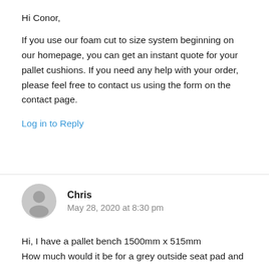Hi Conor,
If you use our foam cut to size system beginning on our homepage, you can get an instant quote for your pallet cushions. If you need any help with your order, please feel free to contact us using the form on the contact page.
Log in to Reply
Chris
May 28, 2020 at 8:30 pm
Hi, I have a pallet bench 1500mm x 515mm
How much would it be for a grey outside seat pad and